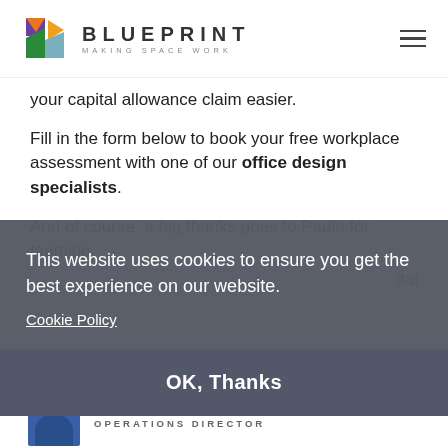BLUEPRINT MAKING SPACE WORK
your capital allowance claim easier.
Fill in the form below to book your free workplace assessment with one of our office design specialists.
And of course, a big thanks goes to Paula for teaming ... ital
This website uses cookies to ensure you get the best experience on our website. Cookie Policy
OK, Thanks
OPERATIONS DIRECTOR